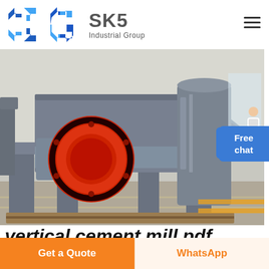[Figure (logo): SKS Industrial Group logo with blue angular S-shaped icon and grey text]
[Figure (photo): Industrial vertical cement mill machine, grey metal body with red circular end cap/port, sitting on steel frame in factory]
vertical cement mill pdf
Get a Quote
WhatsApp